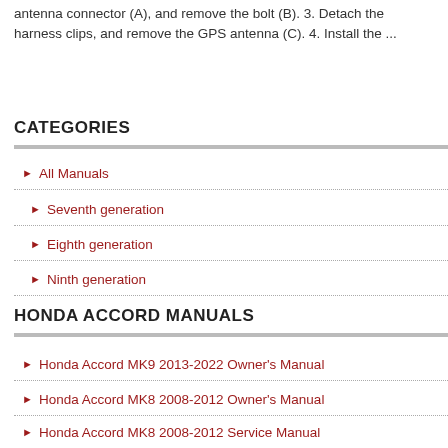antenna connector (A), and remove the bolt (B). 3. Detach the harness clips, and remove the GPS antenna (C). 4. Install the ...
CATEGORIES
All Manuals
Seventh generation
Eighth generation
Ninth generation
HONDA ACCORD MANUALS
Honda Accord MK9 2013-2022 Owner's Manual
Honda Accord MK8 2008-2012 Owner's Manual
Honda Accord MK8 2008-2012 Service Manual